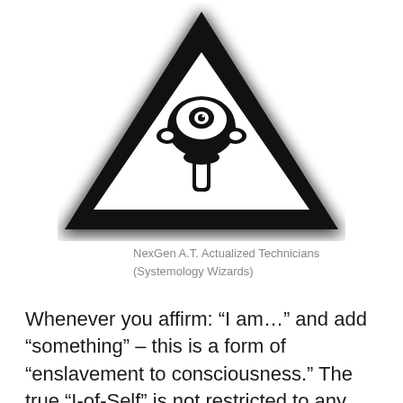[Figure (illustration): A black triangle warning sign with a white inner triangle containing a stylized skull-like alien head symbol. The outer triangle has rounded corners and a blurred/glowing dark edge effect.]
NexGen A.T. Actualized Technicians (Systemology Wizards)
Whenever you affirm: “I am…” and add “something” – this is a form of “enslavement to consciousness.” The true “I-of-Self” is not restricted to any conception of “persona-personality-programming” that you have “experienced” in